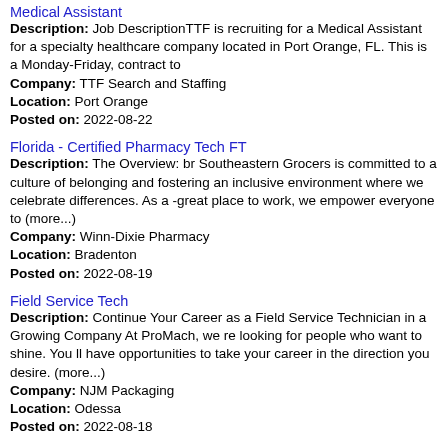Medical Assistant
Description: Job DescriptionTTF is recruiting for a Medical Assistant for a specialty healthcare company located in Port Orange, FL. This is a Monday-Friday, contract to
Company: TTF Search and Staffing
Location: Port Orange
Posted on: 2022-08-22
Florida - Certified Pharmacy Tech FT
Description: The Overview: br Southeastern Grocers is committed to a culture of belonging and fostering an inclusive environment where we celebrate differences. As a -great place to work, we empower everyone to (more...)
Company: Winn-Dixie Pharmacy
Location: Bradenton
Posted on: 2022-08-19
Field Service Tech
Description: Continue Your Career as a Field Service Technician in a Growing Company At ProMach, we re looking for people who want to shine. You ll have opportunities to take your career in the direction you desire. (more...)
Company: NJM Packaging
Location: Odessa
Posted on: 2022-08-18
Pharmacy Technician / Pharm Tech Apprenticeship
Description: Our pharmacy technician positions have undergone